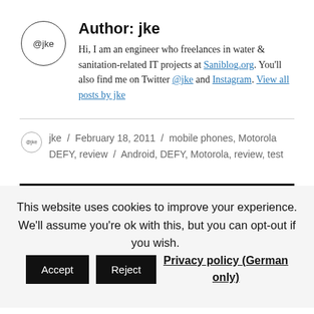[Figure (illustration): Circular avatar with @jke text]
Author: jke
Hi, I am an engineer who freelances in water & sanitation-related IT projects at Saniblog.org. You'll also find me on Twitter @jke and Instagram. View all posts by jke
jke / February 18, 2011 / mobile phones, Motorola DEFY, review / Android, DEFY, Motorola, review, test
This website uses cookies to improve your experience. We'll assume you're ok with this, but you can opt-out if you wish. Accept Reject Privacy policy (German only)